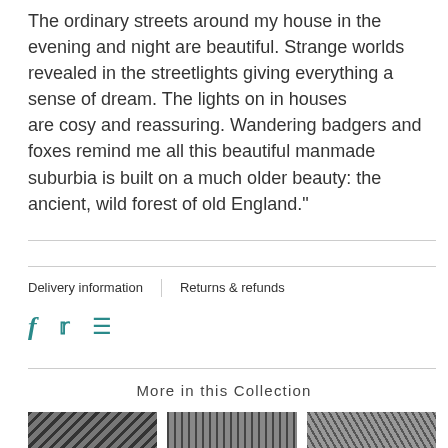The ordinary streets around my house in the evening and night are beautiful. Strange worlds revealed in the streetlights giving everything a sense of dream. The lights on in houses are cosy and reassuring. Wandering badgers and foxes remind me all this beautiful manmade suburbia is built on a much older beauty: the ancient, wild forest of old England."
Delivery information | Returns & refunds
[Figure (other): Social media share icons: Facebook (f), Twitter (bird), Pinterest (circle with P)]
More in this Collection
[Figure (photo): Three small thumbnail images of artwork in black and white, shown at bottom of page]